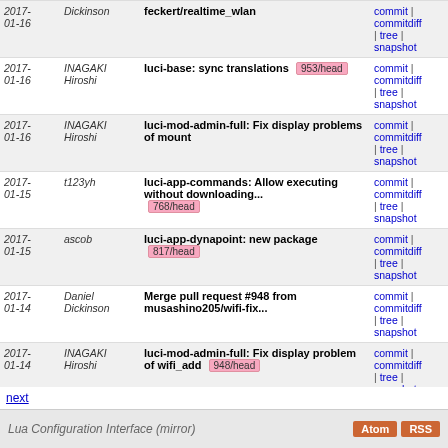| Date | Author | Message | Links |
| --- | --- | --- | --- |
| 2017-01-16 | Dickinson | feckert/realtime_wlan | commit | commitdiff | tree | snapshot |
| 2017-01-16 | INAGAKI Hiroshi | luci-base: sync translations 953/head | commit | commitdiff | tree | snapshot |
| 2017-01-16 | INAGAKI Hiroshi | luci-mod-admin-full: Fix display problems of mount | commit | commitdiff | tree | snapshot |
| 2017-01-15 | t123yh | luci-app-commands: Allow executing without downloading... 768/head | commit | commitdiff | tree | snapshot |
| 2017-01-15 | ascob | luci-app-dynapoint: new package 817/head | commit | commitdiff | tree | snapshot |
| 2017-01-14 | Daniel Dickinson | Merge pull request #948 from musashino205/wifi-fix... | commit | commitdiff | tree | snapshot |
| 2017-01-14 | INAGAKI Hiroshi | luci-mod-admin-full: Fix display problem of wifi_add 948/head | commit | commitdiff | tree | snapshot |
| 2017-01-14 | danrl | luci-proto-wireguard: enable addressing for tunnel... 947/head | commit | commitdiff | tree | snapshot |
| 2017-01-14 | Weongyo Jeong | luci-app-firewall: Updates korean language. 946/head | commit | commitdiff | tree | snapshot |
next
Lua Configuration Interface (mirror)